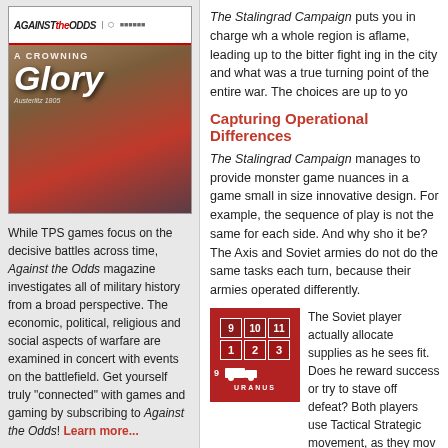[Figure (illustration): Against the Odds magazine cover showing 'A Crowning Glory' with a Napoleonic battle scene painting]
While TPS games focus on the decisive battles across time, Against the Odds magazine investigates all of military history from a broad perspective. The economic, political, religious and social aspects of warfare are examined in concert with events on the battlefield. Get yourself truly "connected" with games and gaming by subscribing to Against the Odds! Learn more...
The Stalingrad Campaign puts you in charge wh a whole region is aflame, leading up to the bitter fight- ing in the city and what was a true turning point of the entire war. The choices are up to yo
Capturing Operational Differences
The Stalingrad Campaign manages to provide monster game nuances in a game small in size innovative design. For example, the sequence of play is not the same for each side. And why sho it be? The Axis and Soviet armies do not do the same tasks each turn, because their armies operated differently.
[Figure (illustration): Game counter showing Soviet Uranus unit with numbers 9, 10, 11 on top row, 1, 2, 3 on middle row, a truck icon, and number 9 URANUS label]
The Soviet player actually allocate supplies as he sees fit. Does he reward success or try to stave off defeat? Both players use Tactical Strategic movement, as they mov their forces around the battlefield. German Prim and Secondary objectives are determined rando (and hidden from the Soviets!). Side operations the Caucasus offer additional victory points but occupy units to achieve them. Are the points wo the cost?
Operation Uranus, the great Soviet counter-offensive, has optional start times, with incentive for delay (if the rest of the Soviet front can hold out!).
Sudden death victory is possible for both sides